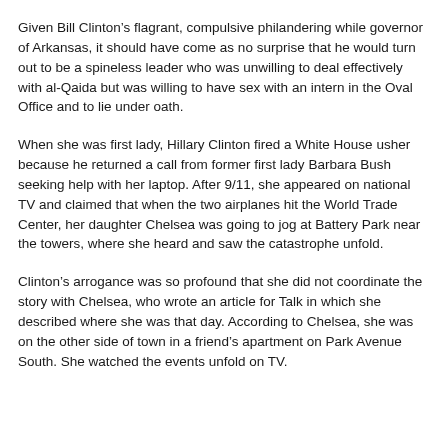Given Bill Clinton's flagrant, compulsive philandering while governor of Arkansas, it should have come as no surprise that he would turn out to be a spineless leader who was unwilling to deal effectively with al-Qaida but was willing to have sex with an intern in the Oval Office and to lie under oath.
When she was first lady, Hillary Clinton fired a White House usher because he returned a call from former first lady Barbara Bush seeking help with her laptop. After 9/11, she appeared on national TV and claimed that when the two airplanes hit the World Trade Center, her daughter Chelsea was going to jog at Battery Park near the towers, where she heard and saw the catastrophe unfold.
Clinton's arrogance was so profound that she did not coordinate the story with Chelsea, who wrote an article for Talk in which she described where she was that day. According to Chelsea, she was on the other side of town in a friend's apartment on Park Avenue South. She watched the events unfold on TV.